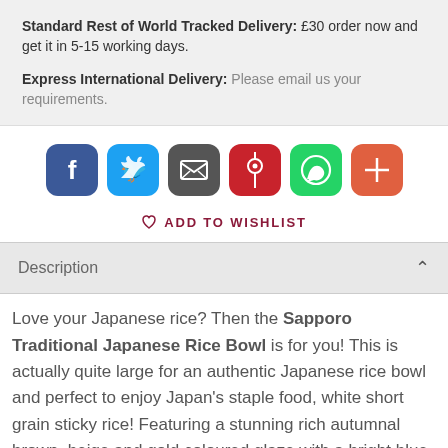Standard Rest of World Tracked Delivery: £30 order now and get it in 5-15 working days.
Express International Delivery: Please email us your requirements.
[Figure (infographic): Row of six social sharing buttons: Facebook (dark blue), Twitter (light blue), Email (dark grey), Pinterest (red), WhatsApp (green), Plus/share (orange-red)]
♡ ADD TO WISHLIST
Description
Love your Japanese rice? Then the Sapporo Traditional Japanese Rice Bowl is for you! This is actually quite large for an authentic Japanese rice bowl and perfect to enjoy Japan's staple food, white short grain sticky rice! Featuring a stunning rich autumnal brown, beige and gold coloured glaze with a bright blue flash! Of course it is also suitable for sauces, dips, pickles and other food